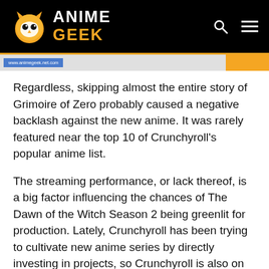Anime Geek
Regardless, skipping almost the entire story of Grimoire of Zero probably caused a negative backlash against the new anime. It was rarely featured near the top 10 of Crunchyroll's popular anime list.
The streaming performance, or lack thereof, is a big factor influencing the chances of The Dawn of the Witch Season 2 being greenlit for production. Lately, Crunchyroll has been trying to cultivate new anime series by directly investing in projects, so Crunchyroll is also on the anime production committee